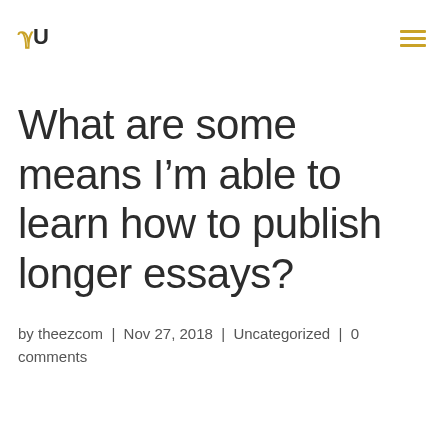U | ≡
What are some means I'm able to learn how to publish longer essays?
by theezcom | Nov 27, 2018 | Uncategorized | 0 comments